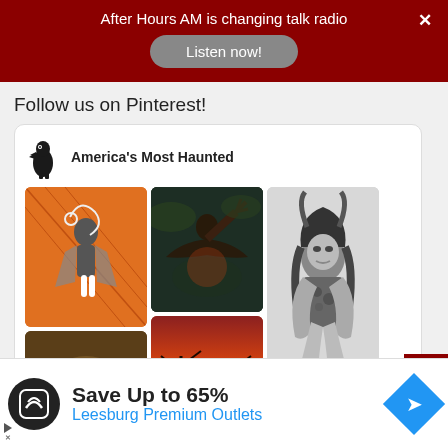After Hours AM is changing talk radio
Listen now!
Follow us on Pinterest!
America's Most Haunted
[Figure (screenshot): Pinterest widget showing 'America's Most Haunted' board with a grid of gothic/horror themed images: illustration of a dark figure on orange background, dark supernatural figure, black and white photo of woman with horns, dark forest scene, silhouette against orange sky]
Save Up to 65%
Leesburg Premium Outlets